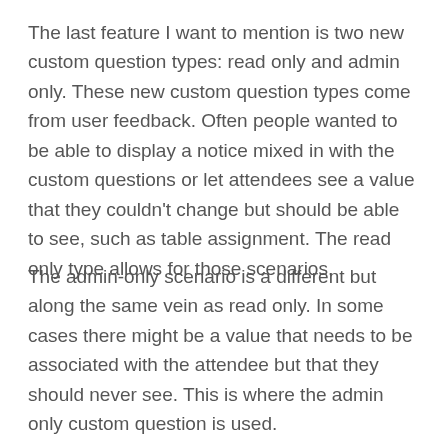The last feature I want to mention is two new custom question types: read only and admin only. These new custom question types come from user feedback. Often people wanted to be able to display a notice mixed in with the custom questions or let attendees see a value that they couldn't change but should be able to see, such as table assignment. The read only type allows for those scenarios.
The admin-only scenario is a different but along the same vein as read only. In some cases there might be a value that needs to be associated with the attendee but that they should never see. This is where the admin only custom question is used.